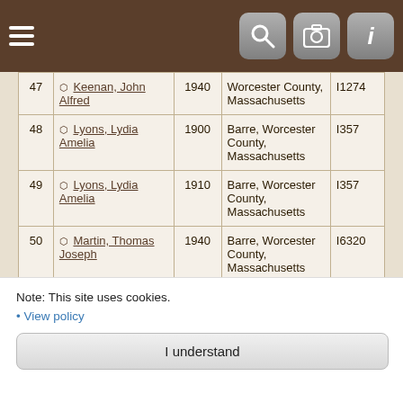| # | Name | Year | Place | ID |
| --- | --- | --- | --- | --- |
| 47 | Keenan, John Alfred | 1940 | Worcester County, Massachusetts | I1274 |
| 48 | Lyons, Lydia Amelia | 1900 | Barre, Worcester County, Massachusetts | I357 |
| 49 | Lyons, Lydia Amelia | 1910 | Barre, Worcester County, Massachusetts | I357 |
| 50 | Martin, Thomas Joseph | 1940 | Barre, Worcester County, Massachusetts | I6320 |
1  2  Next»
Note: This site uses cookies.
• View policy
I understand